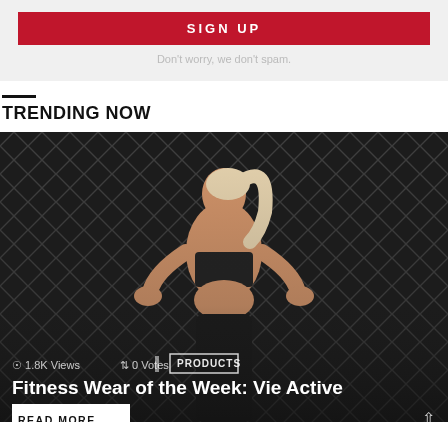[Figure (other): Red SIGN UP button on gray background with spam disclaimer below]
Don't worry, we don't spam.
TRENDING NOW
[Figure (photo): Woman with blonde hair in black sports bra and leggings pressed against chain-link fence, viewed from behind]
1.8K Views  0 Votes  PRODUCTS
Fitness Wear of the Week: Vie Active
READ MORE